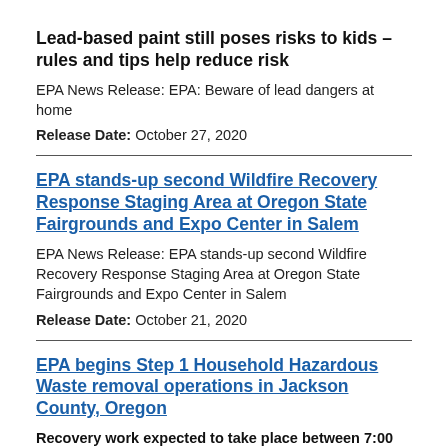Lead-based paint still poses risks to kids – rules and tips help reduce risk
EPA News Release: EPA: Beware of lead dangers at home
Release Date: October 27, 2020
EPA stands-up second Wildfire Recovery Response Staging Area at Oregon State Fairgrounds and Expo Center in Salem
EPA News Release: EPA stands-up second Wildfire Recovery Response Staging Area at Oregon State Fairgrounds and Expo Center in Salem
Release Date: October 21, 2020
EPA begins Step 1 Household Hazardous Waste removal operations in Jackson County, Oregon
Recovery work expected to take place between 7:00